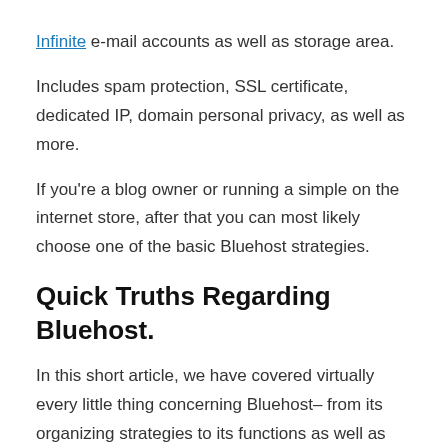Infinite e-mail accounts as well as storage area.
Includes spam protection, SSL certificate, dedicated IP, domain personal privacy, as well as more.
If you're a blog owner or running a simple on the internet store, after that you can most likely choose one of the basic Bluehost strategies.
Quick Truths Regarding Bluehost.
In this short article, we have covered virtually every little thing concerning Bluehost– from its organizing strategies to its functions as well as cons.
In case you missed out on something important, right here are some quick realities about Bluehost: